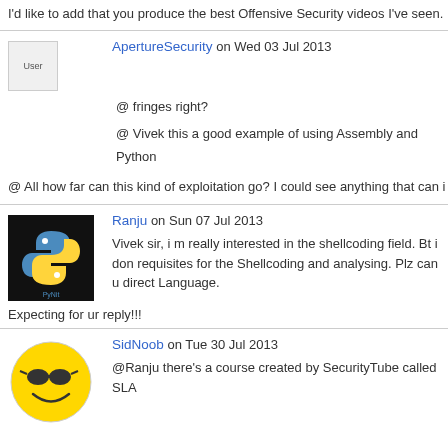I'd like to add that you produce the best Offensive Security videos I've seen.
ApertureSecurity on Wed 03 Jul 2013
@ fringes right?
@ Vivek this a good example of using Assembly and Python
@ All how far can this kind of exploitation go? I could see anything that can i
Ranju on Sun 07 Jul 2013
Vivek sir, i m really interested in the shellcoding field. Bt i don requisites for the Shellcoding and analysing. Plz can u direct Language.
Expecting for ur reply!!!
SidNoob on Tue 30 Jul 2013
@Ranju there's a course created by SecurityTube called SLA